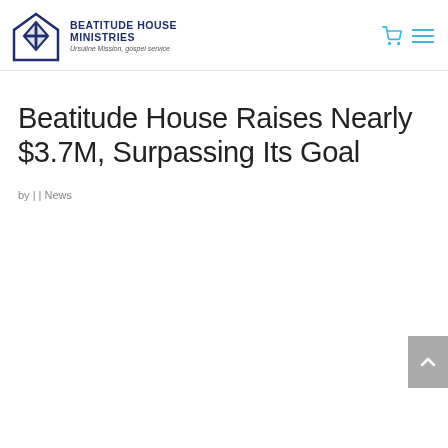BEATITUDE HOUSE MINISTRIES — Ursuline Mission, gospel service
Beatitude House Raises Nearly $3.7M, Surpassing Its Goal
by | | News